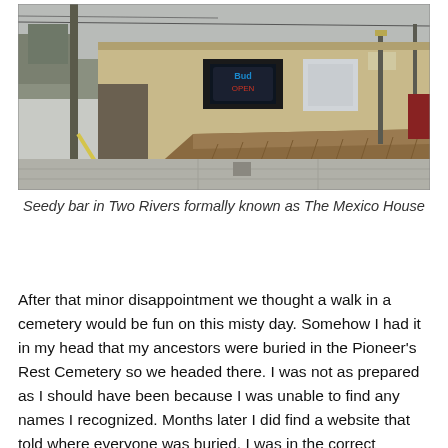[Figure (photo): Exterior photo of a low single-story tan/beige building with wooden deck and lattice railing, a neon bar sign visible through a window, parking lot in foreground, utility poles and street visible to the left.]
Seedy bar in Two Rivers formally known as The Mexico House
After that minor disappointment we thought a walk in a cemetery would be fun on this misty day. Somehow I had it in my head that my ancestors were buried in the Pioneer's Rest Cemetery so we headed there. I was not as prepared as I should have been because I was unable to find any names I recognized. Months later I did find a website that told where everyone was buried. I was in the correct cemetery